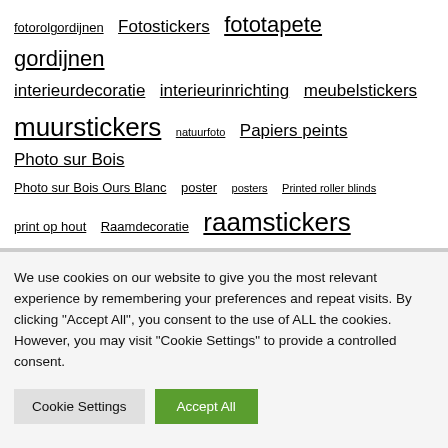fotorolgordijnen Fotostickers fototapete gordijnen interieurdecoartie interieurinrichting meubelstickers muurstickers natuurfoto Papiers peints Photo sur Bois Photo sur Bois Ours Blanc poster posters Printed roller blinds print op hout Raamdecoratie raamstickers rolgordijnen Stickers Tekenrollen vakantiefoto vlies fotobehang Wall Murals wanddecoratie
We use cookies on our website to give you the most relevant experience by remembering your preferences and repeat visits. By clicking "Accept All", you consent to the use of ALL the cookies. However, you may visit "Cookie Settings" to provide a controlled consent.